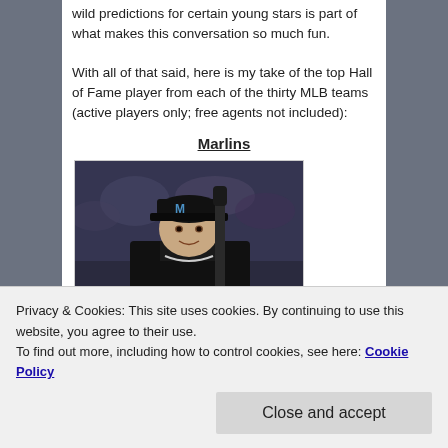wild predictions for certain young stars is part of what makes this conversation so much fun.
With all of that said, here is my take of the top Hall of Fame player from each of the thirty MLB teams (active players only; free agents not included):
Marlins
[Figure (photo): A baseball player wearing a Miami Marlins black uniform and cap with the Marlins 'M' logo, holding a bat, photographed against a blurred crowd background.]
Privacy & Cookies: This site uses cookies. By continuing to use this website, you agree to their use.
To find out more, including how to control cookies, see here: Cookie Policy